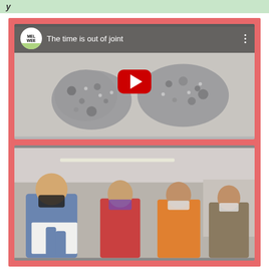y
[Figure (screenshot): YouTube video thumbnail titled 'The time is out of joint' showing two gray blob-shaped ceramic sculptures on a light gray background, with a red YouTube play button in the center. Top bar shows MEL/WEE logo and video title.]
[Figure (photo): Photo of people wearing face masks in an indoor setting. A man in a blue jacket is looking down at papers, and several women in masks (purple, white) stand nearby in what appears to be an office or classroom.]